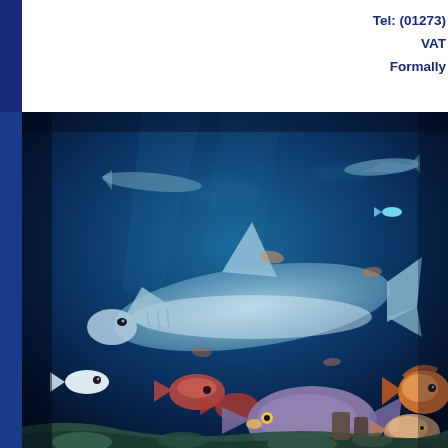Tel: (01273)
VAT
Formally
[Figure (photo): Underwater aquarium scene showing a large shark swimming above colorful tropical fish including parrotfish and other reef fish against a deep blue background with coral on the seafloor]